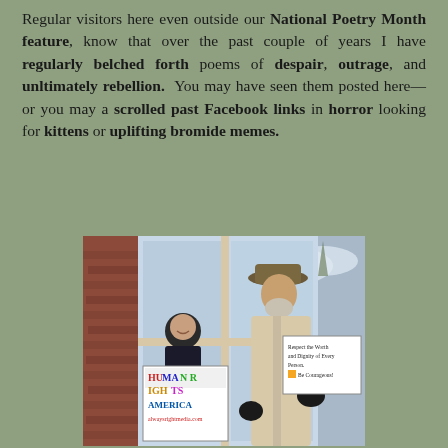Regular visitors here even outside our National Poetry Month feature, know that over the past couple of years I have regularly belched forth poems of despair, outrage, and unltimately rebellion. You may have seen them posted here—or you may a scrolled past Facebook links in horror looking for kittens or uplifting bromide memes.
[Figure (photo): Two people standing outside a brick building with large windows. A woman on the left wearing a black hat and dark jacket holds a colorful sign reading 'HUMAN RIGHTS AMERICA'. A tall older man on the right wearing a wide-brimmed hat, sunglasses, and a light-colored trench coat holds a white sign reading 'Respect the Worth and Dignity of Every Person. Be Courageous!']